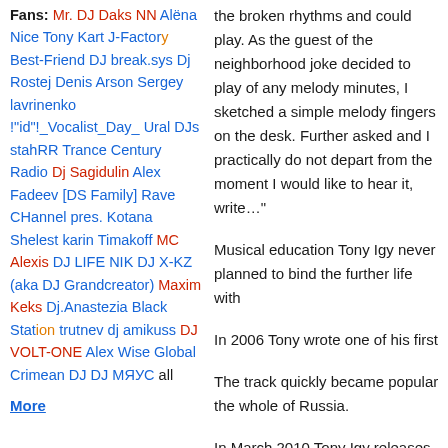Fans: Mr. DJ Daks NN  Alëna Nice  Tony Kart  J-Factory  Best-Friend DJ  break.sys  Dj Rostej  Denis Arson  Sergey lavrinenko  !"id"!_Vocalist_Day_  Ural DJs  stahRR  Trance Century Radio  Dj Sagidulin  Alex Fadeev [DS Family]  Rave CHannel pres. Kotana  Shelest  karin  Timakoff  MC Alexis  DJ LIFE NIK  DJ X-KZ (aka DJ Grandcreator)  Maxim Keks  Dj.Anastezia  Black Station  trutnev  dj amikuss  DJ VOLT-ONE  Alex Wise  Global Crimean DJ  DJ МЯУС  all
More
the broken rhythms and could play. As the guest of the neighborhood joke decided to play of any melody minutes, I sketched a simple melody fingers on the desk. Further asked and I practically do not depart from the moment I would like to hear it, write…"
Musical education Tony Igy never planned to bind the further life with
In 2006 Tony wrote one of his first
The track quickly became popular the whole of Russia.
In March 2010 Tony Igy releases «Astronomia».
He also scored an unexpected po the countries of the CIS, but now